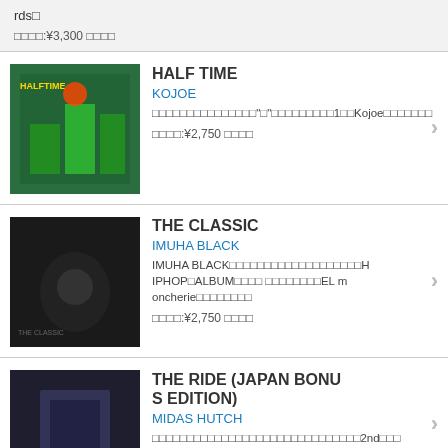rds□
□□□□:¥3,300 □□□□
HALF TIME
KOJOE
□□□□□□□□□□□□□□□"□"□□□□□□□□□1□□Kojoe□□□□□□□
□□□□:¥2,750 □□□□
THE CLASSIC
IMUHA BLACK
IMUHA BLACK□□□□□□□□□□□□□□□□□□□HIPHOP□ALBUM□□□□ □□□□□□□□EL moncherie□□□□□□□□
□□□□:¥2,750 □□□□
THE RIDE (JAPAN BONUS EDITION)
MIDAS HUTCH
□□□□□□□□□□□□□□□□□□□□□□□□□□□□□□2nd□□□